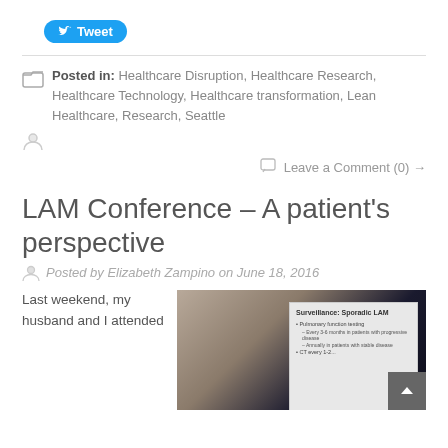[Figure (other): Twitter Tweet button (blue rounded rectangle with bird icon and 'Tweet' text)]
Posted in: Healthcare Disruption, Healthcare Research, Healthcare Technology, Healthcare transformation, Lean Healthcare, Research, Seattle
Leave a Comment (0) →
LAM Conference – A patient's perspective
Posted by Elizabeth Zampino on June 18, 2016
Last weekend, my husband and I attended
[Figure (photo): Photo of a conference room with a presentation slide visible. Slide shows 'Surveillance: Sporadic LAM' with bullet points about pulmonary function testing.]